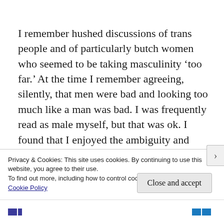I remember hushed discussions of trans people and of particularly butch women who seemed to be taking masculinity 'too far.' At the time I remember agreeing, silently, that men were bad and looking too much like a man was bad. I was frequently read as male myself, but that was ok. I found that I enjoyed the ambiguity and fluidity of sexuality and gender.
Privacy & Cookies: This site uses cookies. By continuing to use this website, you agree to their use.
To find out more, including how to control cookies, see here: Cookie Policy